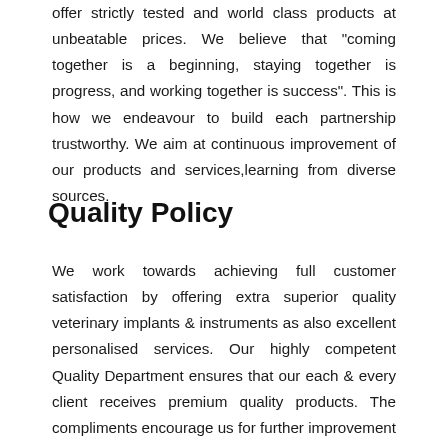offer strictly tested and world class products at unbeatable prices. We believe that "coming together is a beginning, staying together is progress, and working together is success". This is how we endeavour to build each partnership trustworthy. We aim at continuous improvement of our products and services,learning from diverse sources.
Quality Policy
We work towards achieving full customer satisfaction by offering extra superior quality veterinary implants & instruments as also excellent personalised services. Our highly competent Quality Department ensures that our each & every client receives premium quality products. The compliments encourage us for further improvement of the quality of our products & services, and a complaint, if any, prompts us to analyse our failure in the correct